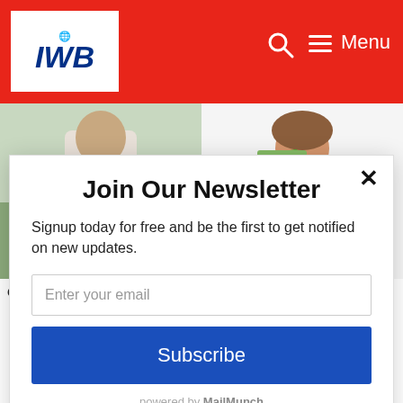IWB — Navigation header with logo, search and menu
[Figure (photo): Man with arms crossed, outdoors, white shirt]
[Figure (photo): Woman holding fan of dollar bills, smiling]
Crypto Whale Explains His
Fixed Income Investments
Join Our Newsletter
Signup today for free and be the first to get notified on new updates.
Enter your email
Subscribe
powered by MailMunch